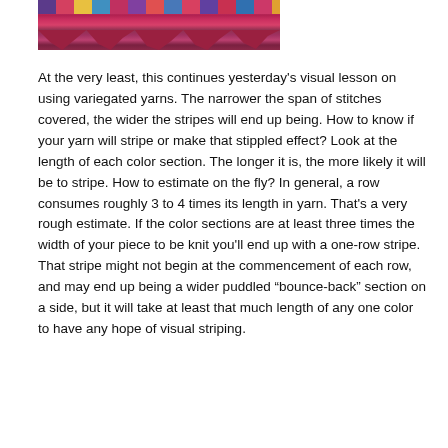[Figure (photo): Cropped photo of colorful variegated yarn knitting with stripes of purple, red, yellow, blue and other colors at the top, and a dark magenta/red knitted fabric below with dripping edge effect.]
At the very least, this continues yesterday's visual lesson on using variegated yarns. The narrower the span of stitches covered, the wider the stripes will end up being. How to know if your yarn will stripe or make that stippled effect? Look at the length of each color section. The longer it is, the more likely it will be to stripe. How to estimate on the fly? In general, a row consumes roughly 3 to 4 times its length in yarn. That's a very rough estimate. If the color sections are at least three times the width of your piece to be knit you'll end up with a one-row stripe. That stripe might not begin at the commencement of each row, and may end up being a wider puddled “bounce-back” section on a side, but it will take at least that much length of any one color to have any hope of visual striping.